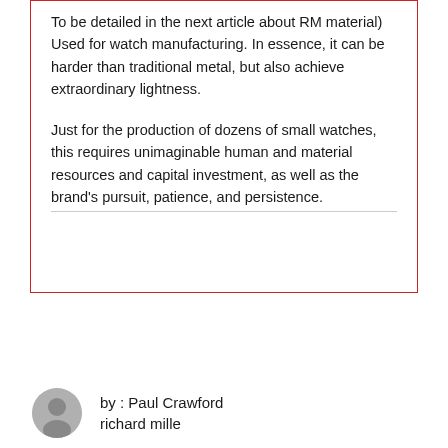To be detailed in the next article about RM material) Used for watch manufacturing. In essence, it can be harder than traditional metal, but also achieve extraordinary lightness.
Just for the production of dozens of small watches, this requires unimaginable human and material resources and capital investment, as well as the brand's pursuit, patience, and persistence.
by : Paul Crawford
richard mille